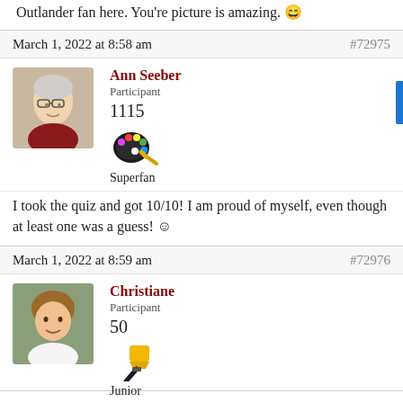Outlander fan here. You're picture is amazing. 😄
March 1, 2022 at 8:58 am   #72975
Ann Seeber
Participant
1115
[palette icon] Superfan
I took the quiz and got 10/10! I am proud of myself, even though at least one was a guess! ☺
March 1, 2022 at 8:59 am   #72976
Christiane
Participant
50
[paintbrush icon] Junior